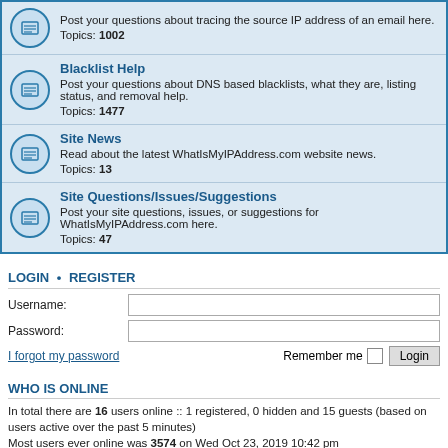Post your questions about tracing the source IP address of an email here. Topics: 1002
Blacklist Help — Post your questions about DNS based blacklists, what they are, listing status, and removal help. Topics: 1477
Site News — Read about the latest WhatIsMyIPAddress.com website news. Topics: 13
Site Questions/Issues/Suggestions — Post your site questions, issues, or suggestions for WhatIsMyIPAddress.com here. Topics: 47
LOGIN • REGISTER
Username:
Password:
I forgot my password
Remember me
WHO IS ONLINE
In total there are 16 users online :: 1 registered, 0 hidden and 15 guests (based on users active over the past 5 minutes)
Most users ever online was 3574 on Wed Oct 23, 2019 10:42 pm
STATISTICS